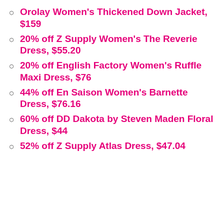Orolay Women's Thickened Down Jacket, $159
20% off Z Supply Women's The Reverie Dress, $55.20
20% off English Factory Women's Ruffle Maxi Dress, $76
44% off En Saison Women's Barnette Dress, $76.16
60% off DD Dakota by Steven Maden Floral Dress, $44
52% off Z Supply Atlas Dress, $47.04